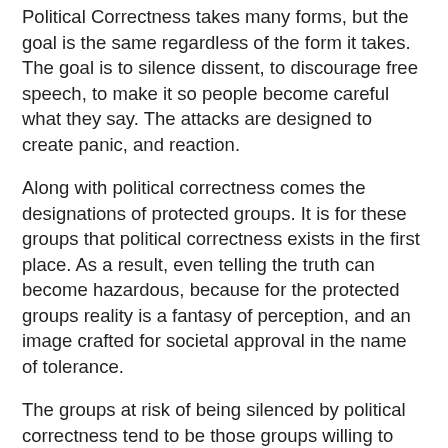Political Correctness takes many forms, but the goal is the same regardless of the form it takes. The goal is to silence dissent, to discourage free speech, to make it so people become careful what they say. The attacks are designed to create panic, and reaction.
Along with political correctness comes the designations of protected groups. It is for these groups that political correctness exists in the first place. As a result, even telling the truth can become hazardous, because for the protected groups reality is a fantasy of perception, and an image crafted for societal approval in the name of tolerance.
The groups at risk of being silenced by political correctness tend to be those groups willing to stand on principles that are at odds with the rising political structure. Truth has become something that must be used sparingly, according to the rising power complex. Standards, in our brave new world, has become a hated element.
Elitist reasoning dictates that the opinions of the opposition to their agenda is disruptive, and offensive to the protected groups, therefore those that do not comply with political